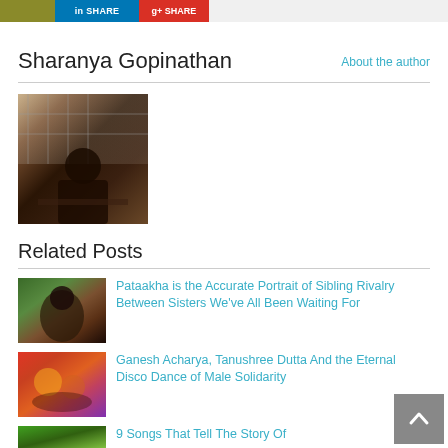[Figure (screenshot): Top bar with social share buttons: an olive/gold colored button, a LinkedIn share button (blue), and a Google/red button]
Sharanya Gopinathan
About the author
[Figure (photo): Author photo showing a person seated indoors, dark setting with decorative background]
Related Posts
[Figure (photo): Thumbnail image for article about Pataakha film]
Pataakha is the Accurate Portrait of Sibling Rivalry Between Sisters We've All Been Waiting For
[Figure (photo): Thumbnail image for article about Ganesh Acharya and Tanushree Dutta]
Ganesh Acharya, Tanushree Dutta And the Eternal Disco Dance of Male Solidarity
[Figure (photo): Thumbnail image for article about 9 songs]
9 Songs That Tell The Story Of